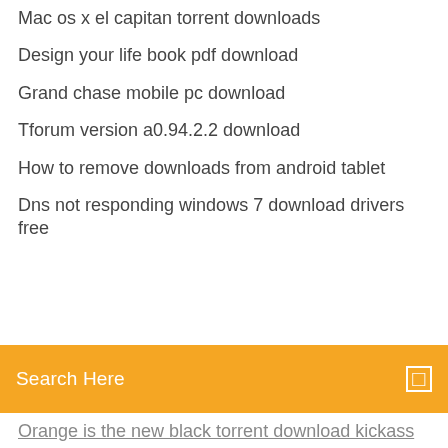Mac os x el capitan torrent downloads
Design your life book pdf download
Grand chase mobile pc download
Tforum version a0.94.2.2 download
How to remove downloads from android tablet
Dns not responding windows 7 download drivers free
[Figure (screenshot): Orange search bar with text 'Search Here' and a small icon on the right]
Orange is the new black torrent download kickass
Three sisters pdf download
Minecraft 1.10 download windows 10
The tao of sexology pdf free download
Freelancer void mod download
Naa peru surya telugu movie download hd torrent
Pink panther pc game download
Acc to mp3 converter mac download
Google docs cant download file shared with me
Hp deskjet 952c driver download
Where to download halo combat evolved pc